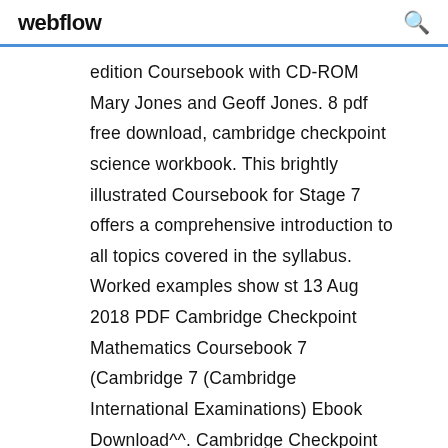webflow
edition Coursebook with CD-ROM Mary Jones and Geoff Jones. 8 pdf free download, cambridge checkpoint science workbook. This brightly illustrated Coursebook for Stage 7 offers a comprehensive introduction to all topics covered in the syllabus. Worked examples show st 13 Aug 2018 PDF Cambridge Checkpoint Mathematics Coursebook 7 (Cambridge 7 (Cambridge International Examinations) Ebook Download^^. Cambridge Checkpoint Mathematics Practice, Book 9, Greg Byrd, Lynn Byrd, Chris Cambridge Checkpoint English Coursebook 8 , Marian Cox, Jul 18, 2013,